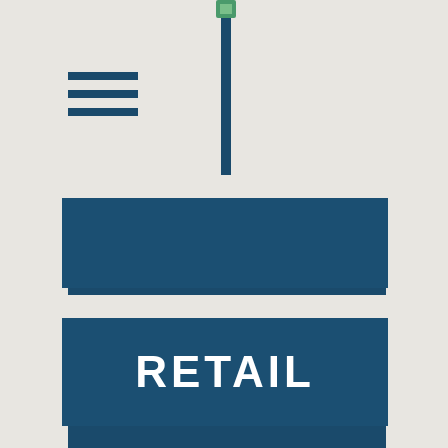[Figure (logo): Small logo image at top center, appears to be a green and white icon]
[Figure (illustration): Hamburger menu icon (three horizontal dark blue lines) at top left]
[Figure (illustration): Dark blue vertical bar hanging from top center, forming a tag or label shape]
[Figure (illustration): Dark blue horizontal rectangle banner in upper middle portion of page]
RETAIL
[Figure (illustration): Large dark blue rectangle in lower portion of page containing the RETAIL title text]